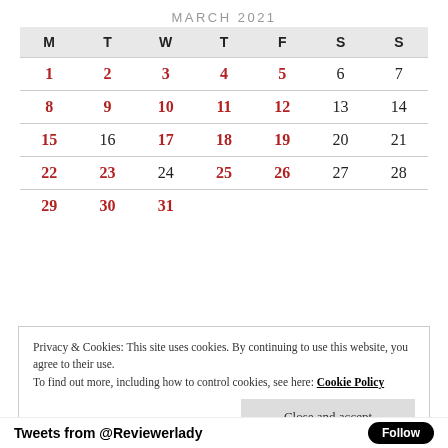MARCH 2021
| M | T | W | T | F | S | S |
| --- | --- | --- | --- | --- | --- | --- |
| 1 | 2 | 3 | 4 | 5 | 6 | 7 |
| 8 | 9 | 10 | 11 | 12 | 13 | 14 |
| 15 | 16 | 17 | 18 | 19 | 20 | 21 |
| 22 | 23 | 24 | 25 | 26 | 27 | 28 |
| 29 | 30 | 31 |  |  |  |  |
Privacy & Cookies: This site uses cookies. By continuing to use this website, you agree to their use.
To find out more, including how to control cookies, see here: Cookie Policy
Close and accept
Tweets from @Reviewerlady  Follow